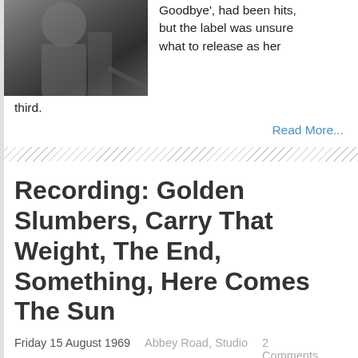[Figure (photo): Black and white photograph of a person, partially visible, cropped at top of page]
Goodbye', had been hits, but the label was unsure what to release as her third.
Read More...
Recording: Golden Slumbers, Carry That Weight, The End, Something, Here Comes The Sun
Friday 15 August 1969   Abbey Road, Studio   2 Comments